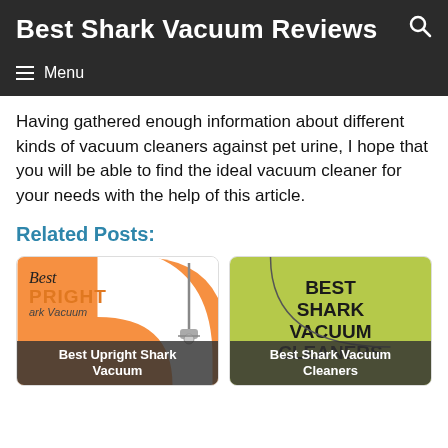Best Shark Vacuum Reviews
Menu
Having gathered enough information about different kinds of vacuum cleaners against pet urine, I hope that you will be able to find the ideal vacuum cleaner for your needs with the help of this article.
Related Posts:
[Figure (photo): Card showing Best Upright Shark Vacuum with orange arc design and vacuum cleaner image]
[Figure (photo): Card showing Best Shark Vacuum Cleaners with green background and bold black text]